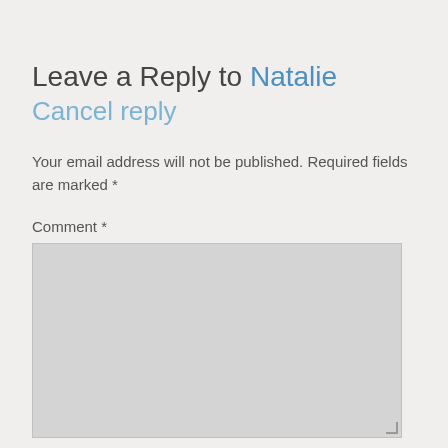Leave a Reply to Natalie Cancel reply
Your email address will not be published. Required fields are marked *
Comment *
[Figure (screenshot): Empty comment textarea input box with light grey background and resize handle]
Name *
[Figure (screenshot): Empty name text input box with light grey background]